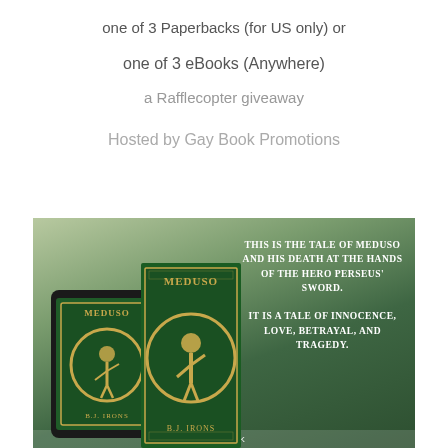one of 3 Paperbacks (for US only) or
one of 3 eBooks (Anywhere)
a Rafflecopter giveaway
Hosted by Gay Book Promotions
[Figure (photo): Book cover image for 'Meduso' by B.J. Irons, showing both a tablet e-reader version and a paperback version of the book. The cover features a green background with a Greek-style warrior figure and decorative border. Text on the right reads: THIS IS THE TALE OF MEDUSO AND HIS DEATH AT THE HANDS OF THE HERO PERSEUS' SWORD. IT IS A TALE OF INNOCENCE, LOVE, BETRAYAL, AND TRAGEDY.]